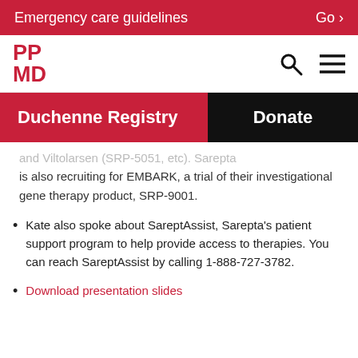Emergency care guidelines   Go >
[Figure (logo): PPMD logo in red with search and menu icons]
Duchenne Registry   Donate
and Viltolarsen (SRP-5051, etc). Sarepta is also recruiting for EMBARK, a trial of their investigational gene therapy product, SRP-9001.
Kate also spoke about SareptAssist, Sarepta's patient support program to help provide access to therapies. You can reach SareptAssist by calling 1-888-727-3782.
Download presentation slides